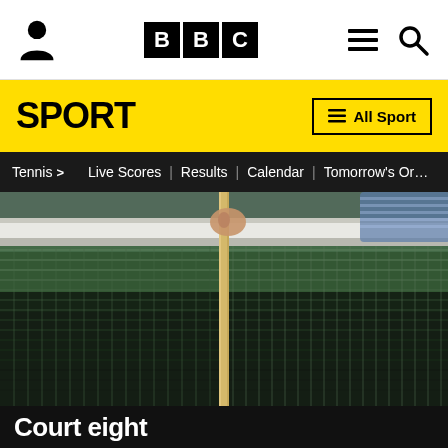[Figure (screenshot): BBC website top navigation bar with person icon, BBC logo boxes, hamburger menu and search icon]
SPORT
Tennis > Live Scores | Results | Calendar | Tomorrow's Or…
[Figure (photo): Close-up photo of a tennis net being measured at the centre with a net gauge, person in blue striped shirt in background on a grass court]
Court eight